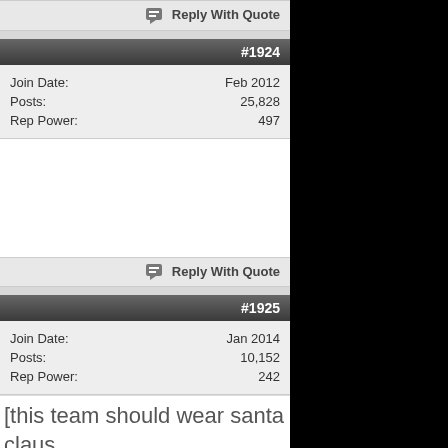Reply With Quote
#1924
| Join Date: | Feb 2012 |
| Posts: | 25,828 |
| Rep Power: | 497 |
Reply With Quote
#1925
| Join Date: | Jan 2014 |
| Posts: | 10,152 |
| Rep Power: | 242 |
[this team should wear santa claus HERE GIFT R TEAM WAS BETTER USES HERE WE GOT OUR TAILS